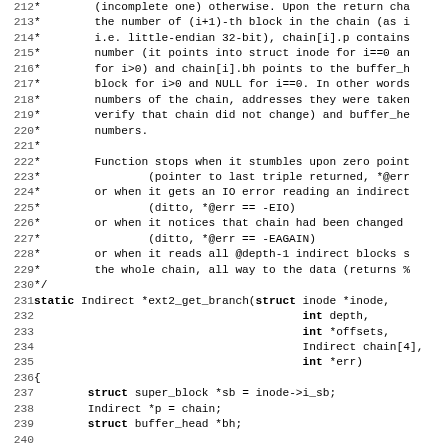[Figure (screenshot): Source code listing of a C function ext2_get_branch with line numbers 212-243, showing comment block and function definition with local variable declarations]